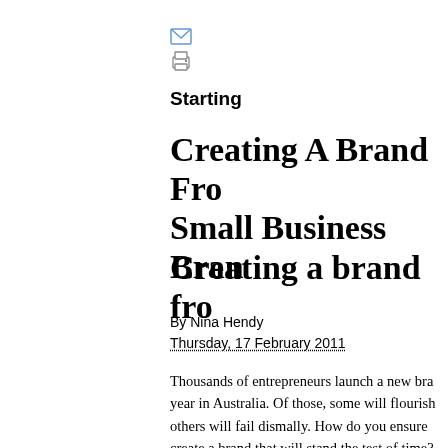[Figure (infographic): Email and print icons stacked vertically]
Starting
Creating A Brand Fro Small Business Bran
Creating a brand fro
By Nina Hendy
Thursday, 17 February 2011
Thousands of entrepreneurs launch a new bra year in Australia. Of those, some will flourish others will fail dismally. How do you ensure create a brand that will stand the test of time?